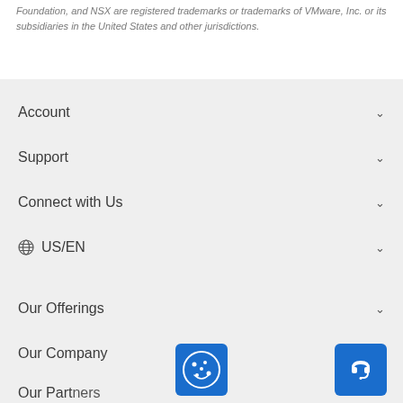Foundation, and NSX are registered trademarks or trademarks of VMware, Inc. or its subsidiaries in the United States and other jurisdictions.
Account
Support
Connect with Us
US/EN
Our Offerings
Our Company
[Figure (logo): Cookie consent badge icon - blue square with cat/cookie face icon]
[Figure (logo): Blue support/headset button]
Our Partners